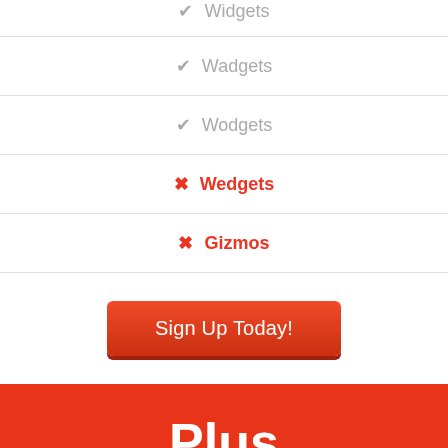✔ Widgets
✔ Wadgets
✔ Wodgets
✗ Wedgets
✗ Gizmos
Sign Up Today!
Plus
FEATURED
$50